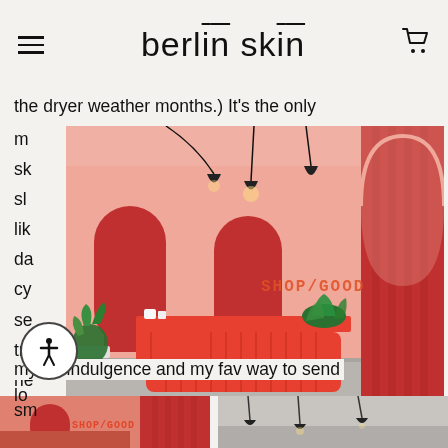berlin skin
the dryer weather months.) It's the only m... sk... sl... lik... da... cy... se... tr... ne... sm...
[Figure (photo): Interior of a retail/spa space with bold coral/red reception desk, pink walls, arched doorways, pendant lights, and plants. SHOP/GOOD text on wall.]
my #1 indulgence and my fav way to send
lo...
[Figure (photo): Bottom left: partial view of shop interior with coral/red tones and SHOP/GOOD text]
[Figure (photo): Bottom right: partial view of interior with pendant lights]